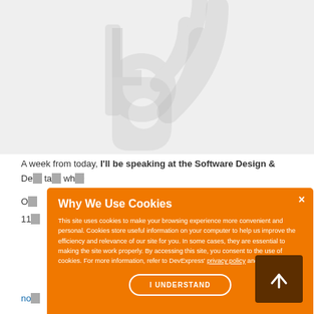[Figure (logo): Light gray blog/RSS icon on gray background — a stylized letter 'b' with RSS signal arcs]
A week from today, I'll be speaking at the Software Design & De... taking wh...
O...
11...
no...
[Figure (screenshot): Cookie consent dialog popup with orange background. Title: 'Why We Use Cookies'. Body: 'This site uses cookies to make your browsing experience more convenient and personal. Cookies store useful information on your computer to help us improve the efficiency and relevance of our site for you. In some cases, they are essential to making the site work properly. By accessing this site, you consent to the use of cookies. For more information, refer to DevExpress' privacy policy and cookie policy.' Button: 'I UNDERSTAND'. Close button X in top right.]